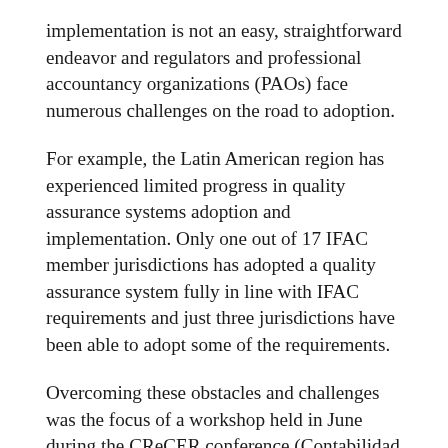implementation is not an easy, straightforward endeavor and regulators and professional accountancy organizations (PAOs) face numerous challenges on the road to adoption.
For example, the Latin American region has experienced limited progress in quality assurance systems adoption and implementation. Only one out of 17 IFAC member jurisdictions has adopted a quality assurance system fully in line with IFAC requirements and just three jurisdictions have been able to adopt some of the requirements.
Overcoming these obstacles and challenges was the focus of a workshop held in June during the CReCER conference (Contabilidad y Responsabilidad para el Crecimiento Económico Regional or Conference for Accounting and Accountability for Regional Economic Growth) in Mexico City, Mexico. More than 60